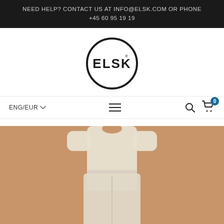NEED HELP? CONTACT US AT INFO@ELSK.COM OR PHONE +45 60 95 19 19
[Figure (logo): ELSK brand logo — black circle with 'ELSK' text inside]
ENG/EUR ▾
[Figure (photo): Product photo of a person wearing a light-colored linen jumpsuit against a warm beige/tan background, cropped at the torso and legs]